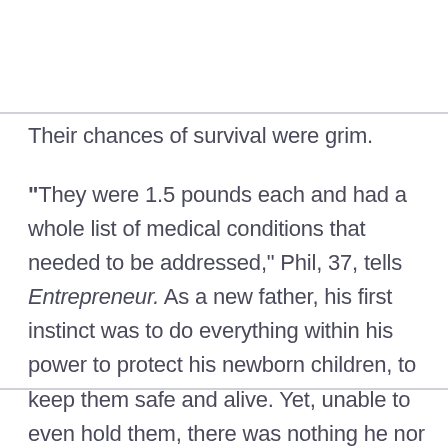Their chances of survival were grim.
“They were 1.5 pounds each and had a whole list of medical conditions that needed to be addressed,” Phil, 37, tells Entrepreneur. As a new father, his first instinct was to do everything within his power to protect his newborn children, to keep them safe and alive. Yet, unable to even hold them, there was nothing he nor his wife, Jude Alcantara